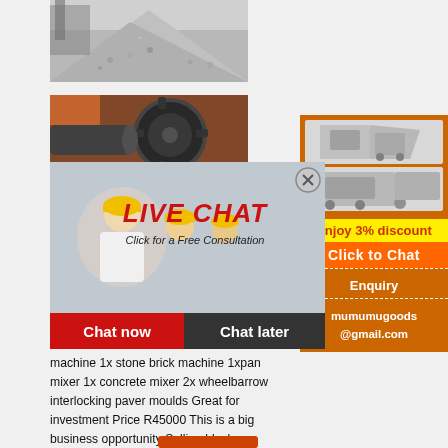[Figure (photo): Pile of gravel/crushed stone at a quarry or construction site]
[Figure (photo): Large industrial gear/machinery in a factory setting]
[Figure (photo): Workers in yellow hard hats at a construction site with Live Chat overlay]
[Figure (photo): Right sidebar with crusher/mining machinery images on orange background]
Enjoy 3% discount
Click to Chat
Enquiry
mumumugoods@gmail.com
machine 1x stone brick machine 1xpan mixer 1x concrete mixer 2x wheelbarrow interlocking paver moulds Great for investment Price R45000 This is a big business opportunity Selling blocks, bricks and pavers U can whatsup me on 07392 085...